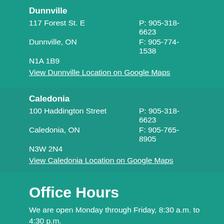Dunnville
117 Forest St. E
Dunnville, ON
N1A 1B9
P: 905-318-6623
F: 905-774-1538
View Dunnville Location on Google Maps
Caledonia
100 Haddington Street
Caledonia, ON
N3W 2N4
P: 905-318-6623
F: 905-765-8905
View Caledonia Location on Google Maps
Office Hours
We are open Monday through Friday, 8:30 a.m. to 4:30 p.m.
After Hours Emergencies
For public health emergencies or hazards, such as outbreaks, food poisoning, meningitis or rabies, please call our after hours emergency phone number at 1-877-298-5888.